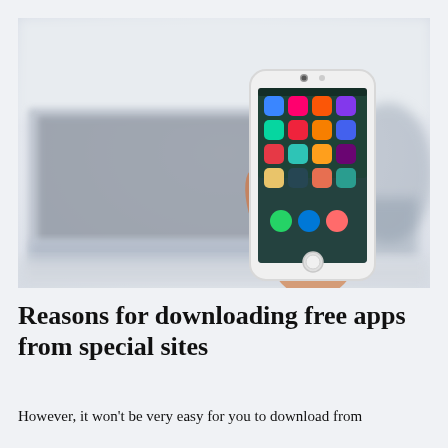[Figure (photo): A hand holding a white smartphone (iPhone) with a home screen showing colorful app icons. In the background is a blurred laptop keyboard and office chairs in a light, airy office environment.]
Reasons for downloading free apps from special sites
However, it won't be very easy for you to download from